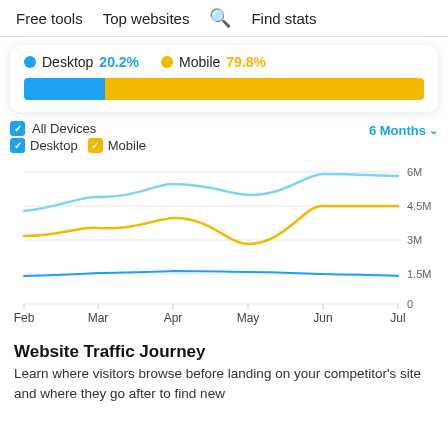Free tools   Top websites   🔍 Find stats
[Figure (infographic): Device split bar showing Desktop 20.2% (blue dot) and Mobile 79.8% (gold dot), with a proportional horizontal bar chart in blue and gold.]
[Figure (line-chart): All Devices / Desktop / Mobile traffic over 6 months]
Website Traffic Journey
Learn where visitors browse before landing on your competitor's site and where they go after to find new